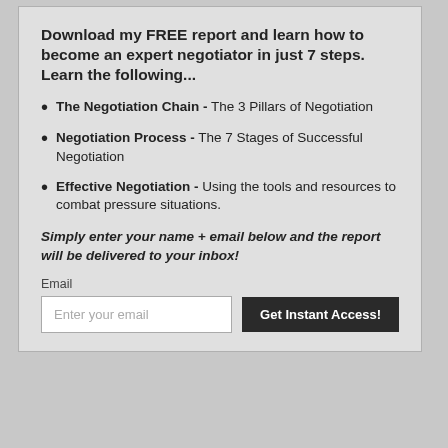Download my FREE report and learn how to become an expert negotiator in just 7 steps. Learn the following...
The Negotiation Chain - The 3 Pillars of Negotiation
Negotiation Process - The 7 Stages of Successful Negotiation
Effective Negotiation - Using the tools and resources to combat pressure situations.
Simply enter your name + email below and the report will be delivered to your inbox!
Email